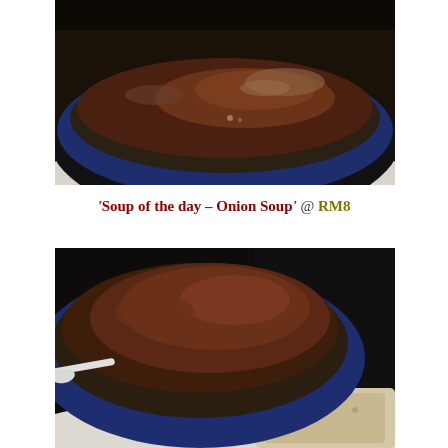[Figure (photo): Close-up photo of a dark brown onion soup in a blue-rimmed bowl, viewed from slightly above, on a dark background with a white plate underneath.]
'Soup of the day – Onion Soup' @ RM8
[Figure (photo): Close-up photo of a dark brown onion soup in a blue bowl with a spoon visible on the left, and a piece of bread visible on the lower right, on a dark background.]